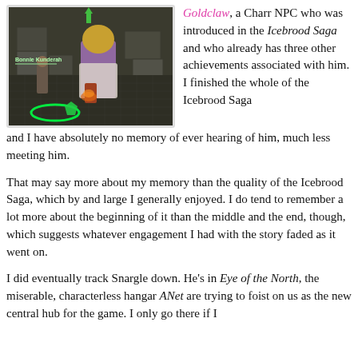[Figure (screenshot): A screenshot from Guild Wars 2 showing a character named Bonnie Kunderah standing near a large NPC character in a stone environment. There is a green targeting ring on the ground and a small green gem shape nearby.]
Goldclaw, a Charr NPC who was introduced in the Icebrood Saga and who already has three other achievements associated with him. I finished the whole of the Icebrood Saga and I have absolutely no memory of ever hearing of him, much less meeting him.
That may say more about my memory than the quality of the Icebrood Saga, which by and large I generally enjoyed. I do tend to remember a lot more about the beginning of it than the middle and the end, though, which suggests whatever engagement I had with the story faded as it went on.
I did eventually track Snargle down. He's in Eye of the North, the miserable, characterless hangar ANet are trying to foist on us as the new central hub for the game. I only go there if I